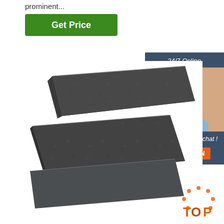prominent...
[Figure (other): Green 'Get Price' button]
[Figure (photo): Two stacked dark granite/stone flat bar panels photographed at an angle]
[Figure (infographic): 24/7 Online chat widget with agent photo, 'Click here for free chat!' text, and orange QUOTATION button]
[Figure (other): Orange and brown 'TOP' badge in bottom right corner]